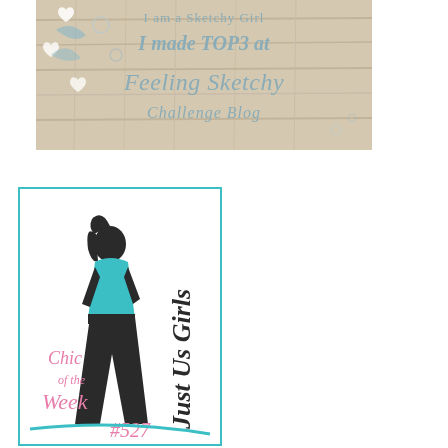[Figure (illustration): Badge image on a rustic wood background with hanging hearts and ornaments. Text reads 'I am a Sketchy Girl / I made TOP3 at / Feeling Sketchy / Challenge Blog']
[Figure (logo): Just Us Girls challenge blog badge. Shows a silhouette of a woman in a teal top and black pants. Text reads 'Chic of the Week / Just Us Girls / #527']